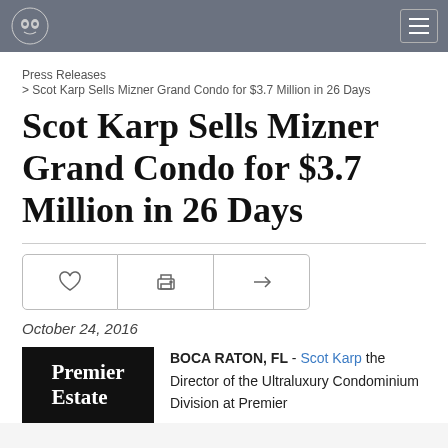[logo] [navigation menu]
Press Releases
> Scot Karp Sells Mizner Grand Condo for $3.7 Million in 26 Days
Scot Karp Sells Mizner Grand Condo for $3.7 Million in 26 Days
[action buttons: favorite, print, share]
October 24, 2016
[Figure (logo): Premier Estate logo — black background with white text reading 'Premier Estate']
BOCA RATON, FL - Scot Karp the Director of the Ultraluxury Condominium Division at Premier